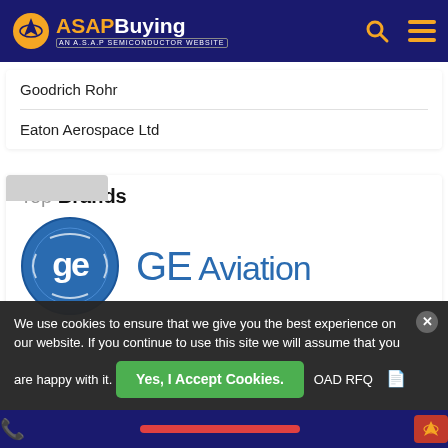ASAP Buying - AN A.S.A.P SEMICONDUCTOR WEBSITE
Goodrich Rohr
Eaton Aerospace Ltd
Top Brands
[Figure (logo): GE Aviation logo — blue circular GE emblem with GE Aviation text in blue]
We use cookies to ensure that we give you the best experience on our website. If you continue to use this site we will assume that you are happy with it.
Yes, I Accept Cookies.